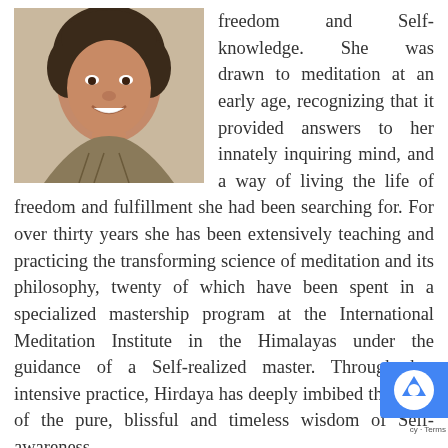[Figure (photo): Portrait photo of a woman with curly dark hair, smiling, wearing a necklace and patterned top]
freedom and Self-knowledge. She was drawn to meditation at an early age, recognizing that it provided answers to her innately inquiring mind, and a way of living the life of freedom and fulfillment she had been searching for. For over thirty years she has been extensively teaching and practicing the transforming science of meditation and its philosophy, twenty of which have been spent in a specialized mastership program at the International Meditation Institute in the Himalayas under the guidance of a Self-realized master. Through her intensive practice, Hirdaya has deeply imbibed the spirit of the pure, blissful and timeless wisdom of Self-awareness.